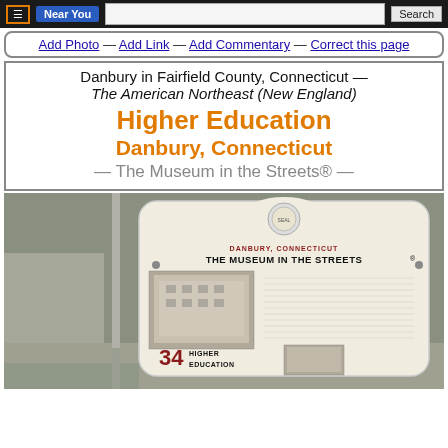Near You  [Search]
Add Photo — Add Link — Add Commentary — Correct this page
Danbury in Fairfield County, Connecticut — The American Northeast (New England)
Higher Education
Danbury, Connecticut
— The Museum in the Streets® —
[Figure (photo): A photograph of a Museum in the Streets outdoor interpretive sign for Danbury, Connecticut, showing 'Higher Education' as panel number 34. The sign has a circular seal at the top, reads 'DANBURY, CONNECTICUT THE MUSEUM IN THE STREETS' and includes historical photographs and text about higher education in Danbury.]